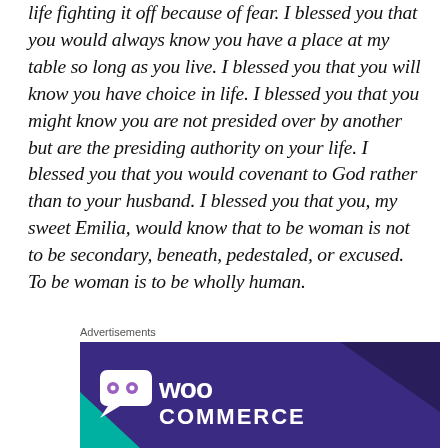life fighting it off because of fear. I blessed you that you would always know you have a place at my table so long as you live. I blessed you that you will know you have choice in life. I blessed you that you might know you are not presided over by another but are the presiding authority on your life. I blessed you that you would covenant to God rather than to your husband. I blessed you that you, my sweet Emilia, would know that to be woman is not to be secondary, beneath, pedestaled, or excused. To be woman is to be wholly human.
Advertisements
[Figure (logo): WooCommerce advertisement banner with purple/navy background and WooCommerce logo (white speech bubble icon with 'Woo' text and 'COMMERCE' in white letters)]